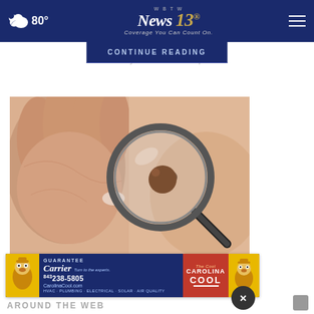80° WBTW News 13 Coverage You Can Count On.
CONTINUE READING
and a cloudy...d inspectors
[Figure (photo): Close-up photo of a hand holding a magnifying glass over a skin mole on a person's arm, relevant to plaque psoriasis article]
Do You Know What Plaque Psoriasis Is? (Take a Look)
Ad by Plaque Psoriasis Treatment | S
[Figure (photo): Carrier HVAC advertisement banner with phone number 843-238-5805, CarolinaCool.com, GUARANTEE text, services including HVAC, PLUMBING, ELECTRICAL, SOLAR, AIR QUALITY, and Carolina Cool branding]
AROUND THE WEB